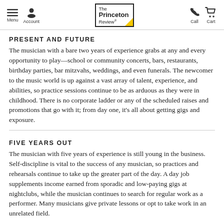Menu | Account | The Princeton Review | Call | Cart
PRESENT AND FUTURE
The musician with a bare two years of experience grabs at any and every opportunity to play—school or community concerts, bars, restaurants, birthday parties, bar mitzvahs, weddings, and even funerals. The newcomer to the music world is up against a vast array of talent, experience, and abilities, so practice sessions continue to be as arduous as they were in childhood. There is no corporate ladder or any of the scheduled raises and promotions that go with it; from day one, it's all about getting gigs and exposure.
FIVE YEARS OUT
The musician with five years of experience is still young in the business. Self-discipline is vital to the success of any musician, so practices and rehearsals continue to take up the greater part of the day. A day job supplements income earned from sporadic and low-paying gigs at nightclubs, while the musician continues to search for regular work as a performer. Many musicians give private lessons or opt to take work in an unrelated field.